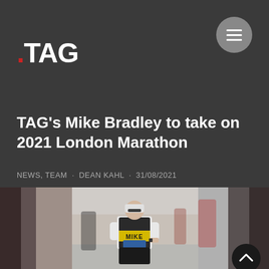.TAG
TAG's Mike Bradley to take on 2021 London Marathon
NEWS, TEAM · DEAN KAHL · 31/08/2021
[Figure (photo): Man named Mike running in a marathon race, wearing a black and yellow vest with his name 'MIKE' on the front, white long-sleeve shirt underneath, cap and sunglasses. Other runners visible in background.]